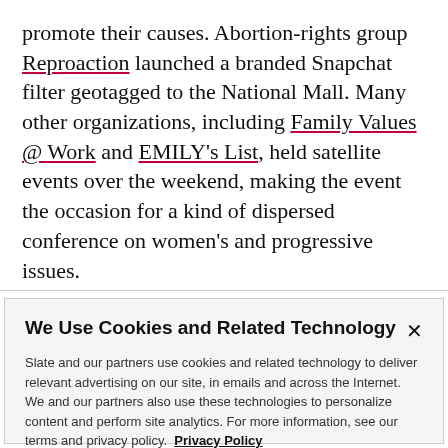promote their causes. Abortion-rights group Reproaction launched a branded Snapchat filter geotagged to the National Mall. Many other organizations, including Family Values @ Work and EMILY's List, held satellite events over the weekend, making the event the occasion for a kind of dispersed conference on women's and progressive issues.
We Use Cookies and Related Technology
Slate and our partners use cookies and related technology to deliver relevant advertising on our site, in emails and across the Internet. We and our partners also use these technologies to personalize content and perform site analytics. For more information, see our terms and privacy policy. Privacy Policy